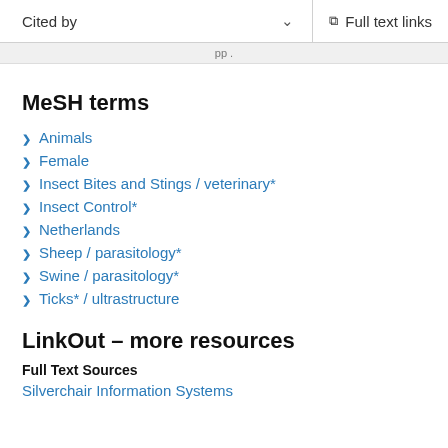Cited by   ∨   Full text links
MeSH terms
Animals
Female
Insect Bites and Stings / veterinary*
Insect Control*
Netherlands
Sheep / parasitology*
Swine / parasitology*
Ticks* / ultrastructure
LinkOut – more resources
Full Text Sources
Silverchair Information Systems